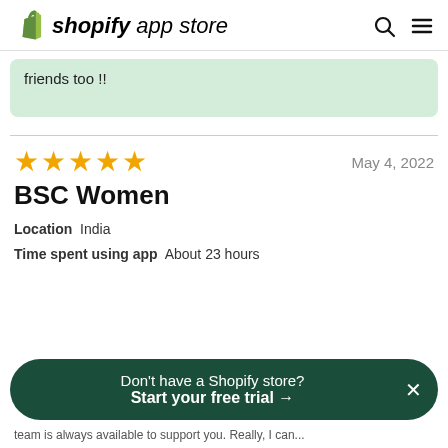shopify app store
friends too !!
★★★★★  May 4, 2022
BSC Women
Location  India
Time spent using app  About 23 hours
Don't have a Shopify store? Start your free trial →